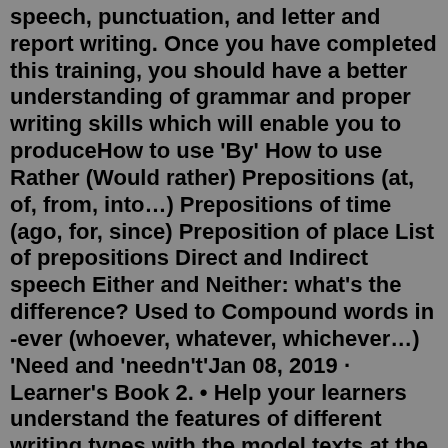speech, punctuation, and letter and report writing. Once you have completed this training, you should have a better understanding of grammar and proper writing skills which will enable you to produceHow to use 'By' How to use Rather (Would rather) Prepositions (at, of, from, into…) Prepositions of time (ago, for, since) Preposition of place List of prepositions Direct and Indirect speech Either and Neither: what's the difference? Used to Compound words in -ever (whoever, whatever, whichever…) 'Need and 'needn't'Jan 08, 2019 · Learner's Book 2. • Help your learners understand the features of different writing types with the model texts at the start of each unit • Improve comprehension skills with the 'Let's ... Are you looking to improve Class 12 English writing skills, Class 11 Speaking and Listening Skills, Class 10, 9, 8, 7, 6 English Grammar, Reading & Writing skills? Then, click on the below links & practice more on English grammar to score better marks in CBSE English board exams as well as